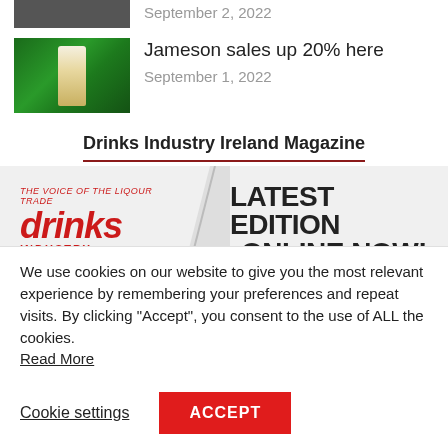September 2, 2022
Jameson sales up 20% here
September 1, 2022
Drinks Industry Ireland Magazine
[Figure (other): Drinks Industry Ireland magazine banner showing logo and text LATEST EDITION ONLINE NOW!]
We use cookies on our website to give you the most relevant experience by remembering your preferences and repeat visits. By clicking “Accept”, you consent to the use of ALL the cookies. Read More
Cookie settings
ACCEPT